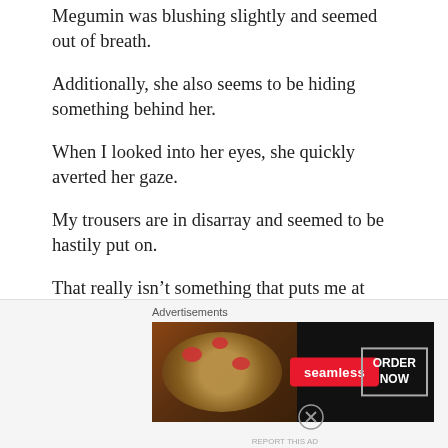Megumin was blushing slightly and seemed out of breath.
Additionally, she also seems to be hiding something behind her.
When I looked into her eyes, she quickly averted her gaze.
My trousers are in disarray and seemed to be hastily put on.
That really isn’t something that puts me at ease.
And behind the two of them were Darkness and Serena lying unconscious across the yard.
[Figure (other): Seamless food delivery advertisement banner with pizza image, Seamless logo in red, and ORDER NOW button]